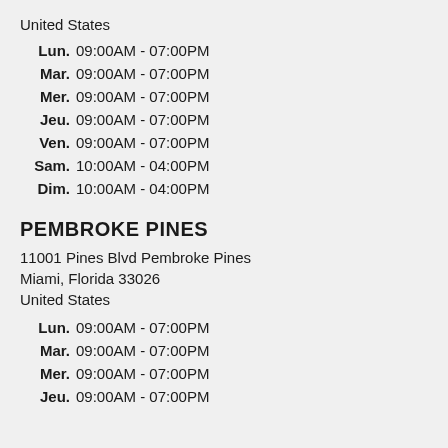United States
Lun. 09:00AM - 07:00PM
Mar. 09:00AM - 07:00PM
Mer. 09:00AM - 07:00PM
Jeu. 09:00AM - 07:00PM
Ven. 09:00AM - 07:00PM
Sam. 10:00AM - 04:00PM
Dim. 10:00AM - 04:00PM
PEMBROKE PINES
11001 Pines Blvd Pembroke Pines
Miami, Florida 33026
United States
Lun. 09:00AM - 07:00PM
Mar. 09:00AM - 07:00PM
Mer. 09:00AM - 07:00PM
Jeu. 09:00AM - 07:00PM